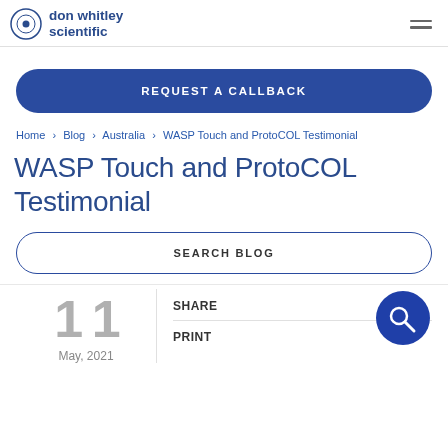don whitley scientific
REQUEST A CALLBACK
Home > Blog > Australia > WASP Touch and ProtoCOL Testimonial
WASP Touch and ProtoCOL Testimonial
SEARCH BLOG
11
May, 2021
SHARE
PRINT